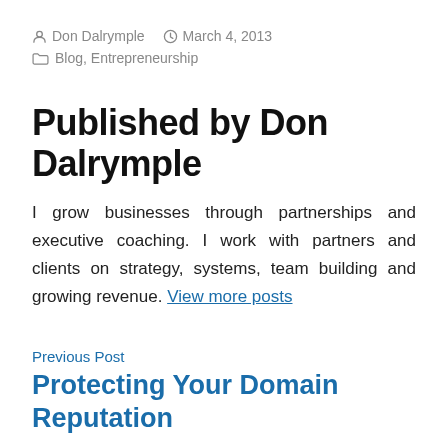Don Dalrymple   March 4, 2013   Blog, Entrepreneurship
Published by Don Dalrymple
I grow businesses through partnerships and executive coaching. I work with partners and clients on strategy, systems, team building and growing revenue. View more posts
Previous Post
Protecting Your Domain Reputation